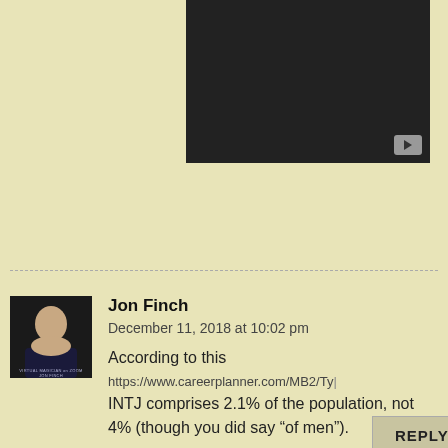[Figure (screenshot): Video player with dark background and play button in bottom-right corner]
REPLY
Jon Finch
December 11, 2018 at 10:02 pm
According to this
https://www.careerplanner.com/MB2/Ty
INTJ comprises 2.1% of the population, not 4% (though you did say "of men").